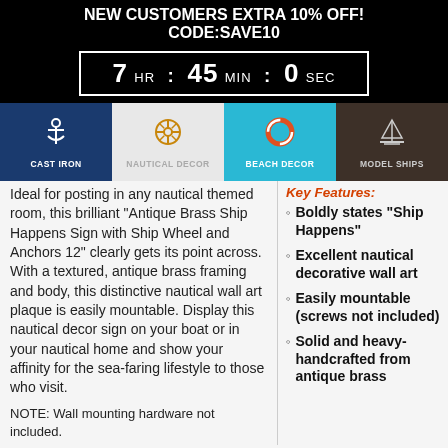NEW CUSTOMERS EXTRA 10% OFF!
CODE:SAVE10
7 HR : 45 MIN : 0 SEC
[Figure (infographic): Navigation bar with four category icons: Cast Iron (anchor on navy), Nautical Decor (ship wheel on light gray), Beach Decor (life preserver on cyan, selected), Model Ships (sailboat on dark brown)]
Ideal for posting in any nautical themed room, this brilliant "Antique Brass Ship Happens Sign with Ship Wheel and Anchors 12" clearly gets its point across. With a textured, antique brass framing and body, this distinctive nautical wall art plaque is easily mountable. Display this nautical decor sign on your boat or in your nautical home and show your affinity for the sea-faring lifestyle to those who visit.
NOTE: Wall mounting hardware not included.
Key Features:
Boldly states "Ship Happens"
Excellent nautical decorative wall art
Easily mountable (screws not included)
Solid and heavy-handcrafted from antique brass